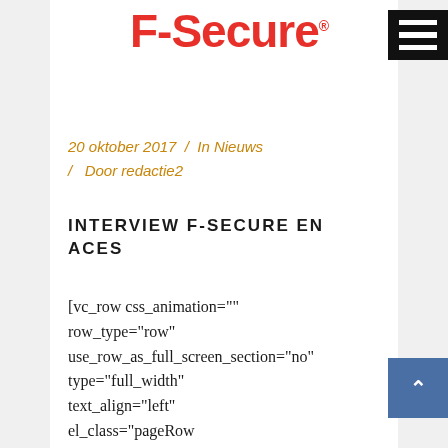[Figure (logo): F-Secure logo in red bold text with registered trademark symbol]
[Figure (other): Hamburger menu icon — three white horizontal bars on black background]
20 oktober 2017 / In Nieuws / Door redactie2
INTERVIEW F-SECURE EN ACES
[vc_row css_animation="" row_type="row" use_row_as_full_screen_section="no" type="full_width" text_align="left" el_class="pageRow pageContent1"] [vc_column] [ultimate_heading
[Figure (other): Scroll-to-top button: blue square with upward-pointing caret arrow]